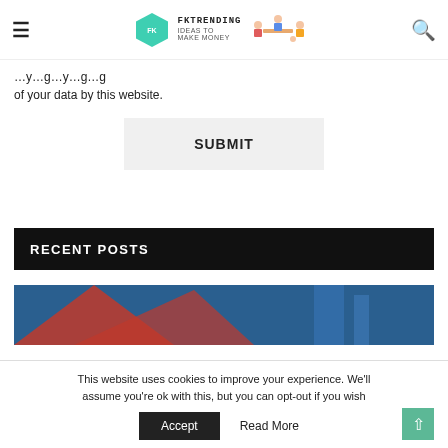FKTRENDING IDEAS TO MAKE MONEY
of your data by this website.
SUBMIT
RECENT POSTS
[Figure (illustration): Partial view of a blog post thumbnail image with red and blue geometric shapes]
This website uses cookies to improve your experience. We'll assume you're ok with this, but you can opt-out if you wish
Accept   Read More